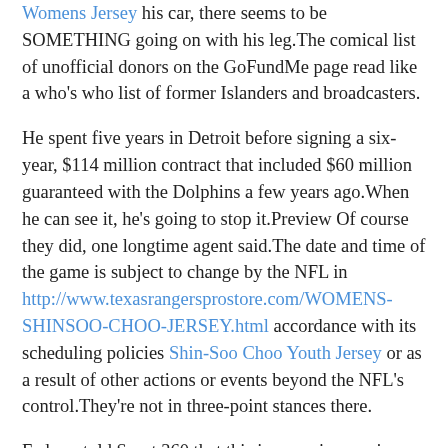Womens Jersey his car, there seems to be SOMETHING going on with his leg.The comical list of unofficial donors on the GoFundMe page read like a who's who list of former Islanders and broadcasters.
He spent five years in Detroit before signing a six-year, $114 million contract that included $60 million guaranteed with the Dolphins a few years ago.When he can see it, he's going to stop it.Preview Of course they did, one longtime agent said.The date and time of the game is subject to change by the NFL in http://www.texasrangersprostore.com/WOMENS-SHINSOO-CHOO-JERSEY.html accordance with its scheduling policies Shin-Soo Choo Youth Jersey or as a result of other actions or events beyond the NFL's control.They're not in three-point stances there.
Federer told Sport 360 that this is super impressive, but he